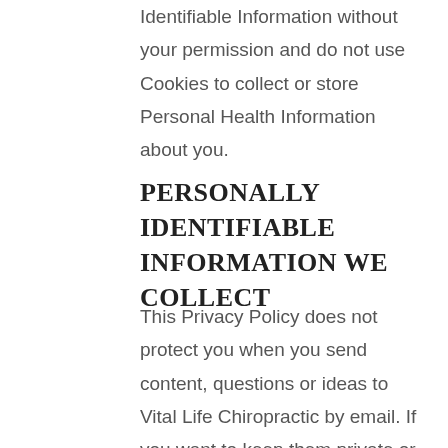Identifiable Information without your permission and do not use Cookies to collect or store Personal Health Information about you.
PERSONALLY IDENTIFIABLE INFORMATION WE COLLECT
This Privacy Policy does not protect you when you send content, questions or ideas to Vital Life Chiropractic by email. If you want to keep them private or proprietary, do not send them in an